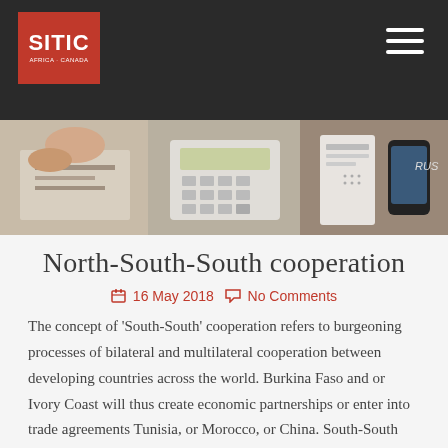[Figure (photo): Dark header bar with SITIC logo (red background, white text) in top-left and hamburger menu icon in top-right, with business meeting photo strip below showing hands, calculator, and phone on desk.]
North-South-South cooperation
16 May 2018   No Comments
The concept of 'South-South' cooperation refers to burgeoning processes of bilateral and multilateral cooperation between developing countries across the world.  Burkina Faso and or Ivory Coast will thus create economic partnerships or enter into trade agreements Tunisia, or Morocco, or China.  South-South cooperation however does not